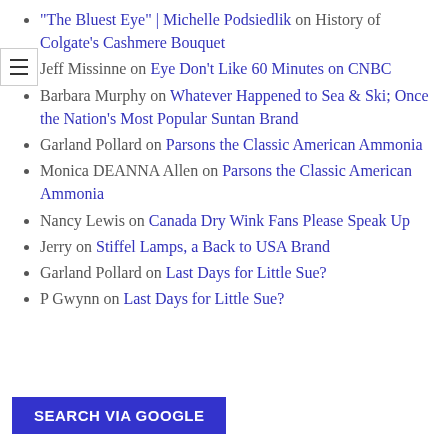“The Bluest Eye” | Michelle Podsiedlik on History of Colgate’s Cashmere Bouquet
Jeff Missinne on Eye Don’t Like 60 Minutes on CNBC
Barbara Murphy on Whatever Happened to Sea & Ski; Once the Nation’s Most Popular Suntan Brand
Garland Pollard on Parsons the Classic American Ammonia
Monica DEANNA Allen on Parsons the Classic American Ammonia
Nancy Lewis on Canada Dry Wink Fans Please Speak Up
Jerry on Stiffel Lamps, a Back to USA Brand
Garland Pollard on Last Days for Little Sue?
P Gwynn on Last Days for Little Sue?
SEARCH VIA GOOGLE